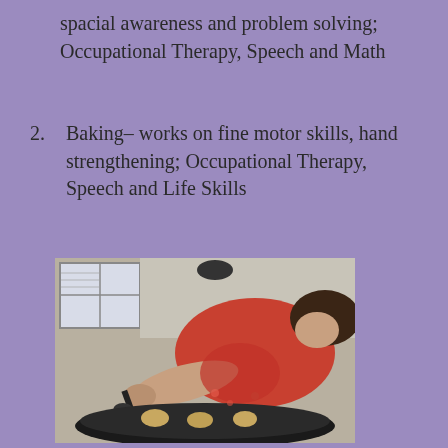spacial awareness and problem solving; Occupational Therapy, Speech and Math
2. Baking– works on fine motor skills, hand strengthening; Occupational Therapy, Speech and Life Skills
[Figure (photo): A person leaning over a pan, placing cookie dough onto a baking sheet, engaged in a baking activity]